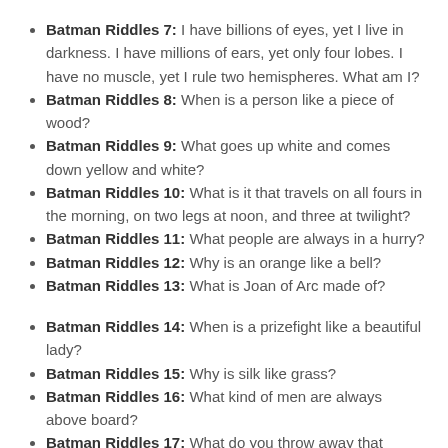Batman Riddles 7: I have billions of eyes, yet I live in darkness. I have millions of ears, yet only four lobes. I have no muscle, yet I rule two hemispheres. What am I?
Batman Riddles 8: When is a person like a piece of wood?
Batman Riddles 9: What goes up white and comes down yellow and white?
Batman Riddles 10: What is it that travels on all fours in the morning, on two legs at noon, and three at twilight?
Batman Riddles 11: What people are always in a hurry?
Batman Riddles 12: Why is an orange like a bell?
Batman Riddles 13: What is Joan of Arc made of?
Batman Riddles 14: When is a prizefight like a beautiful lady?
Batman Riddles 15: Why is silk like grass?
Batman Riddles 16: What kind of men are always above board?
Batman Riddles 17: What do you throw away that keeps